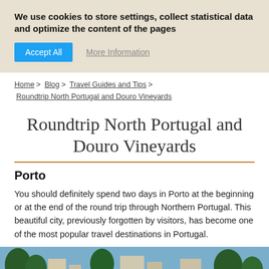We use cookies to store settings, collect statistical data and optimize the content of the pages
Accept All   More Information
Home > Blog > Travel Guides and Tips > Roundtrip North Portugal and Douro Vineyards
Roundtrip North Portugal and Douro Vineyards
Porto
You should definitely spend two days in Porto at the beginning or at the end of the round trip through Northern Portugal. This beautiful city, previously forgotten by visitors, has become one of the most popular travel destinations in Portugal.
[Figure (photo): Photo of Porto cityscape with buildings and trees, partially visible. A white overlay bar at the bottom reads DESTINATIONS with a red dropdown arrow.]